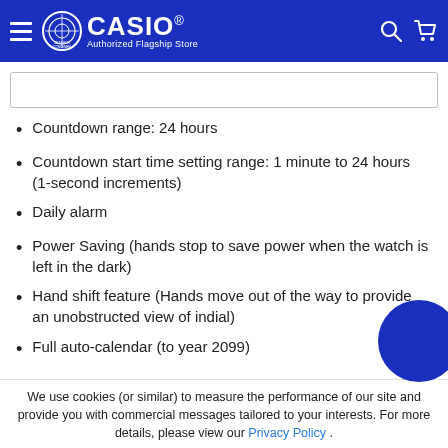CASIO Authorized Flagship Store — Jensen Consumer
Countdown range: 24 hours
Countdown start time setting range: 1 minute to 24 hours (1-second increments)
Daily alarm
Power Saving (hands stop to save power when the watch is left in the dark)
Hand shift feature (Hands move out of the way to provide an unobstructed view of indial)
Full auto-calendar (to year 2099)
We use cookies (or similar) to measure the performance of our site and provide you with commercial messages tailored to your interests. For more details, please view our Privacy Policy .